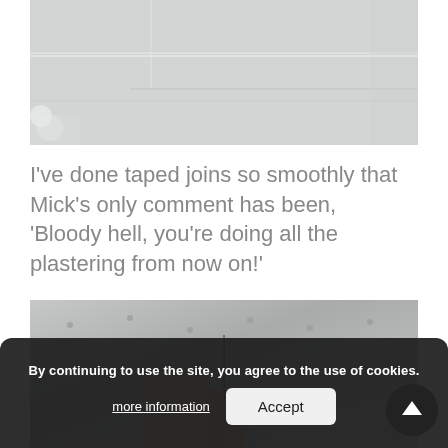[Figure (photo): Photo of ceiling/wall drywall with taped joints, white surface, visible corner and pipe at left]
I've done taped joins so smoothly that Mick's only comment has been, 'Bloody hell, you're doing all the plastering from now on!'
[Figure (photo): Photo of drywalled walls with screws/dots visible, a vertical wire/cable and wooden board or pipe at bottom center]
By continuing to use the site, you agree to the use of cookies.
more information
Accept